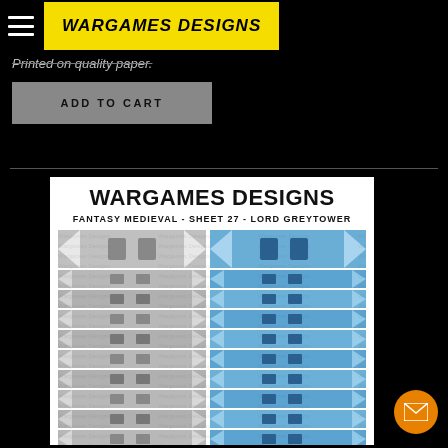WARGAMES DESIGNS
Printed on quality paper.
ADD TO CART
[Figure (screenshot): Product image showing wargames banner miniatures sheet - WARGAMES DESIGNS, FANTASY MEDIEVAL - SHEET 27 - LORD GREYTOWER, with two columns of grey and blue banner/standard miniature figures arranged in rows, with watermark overlays.]